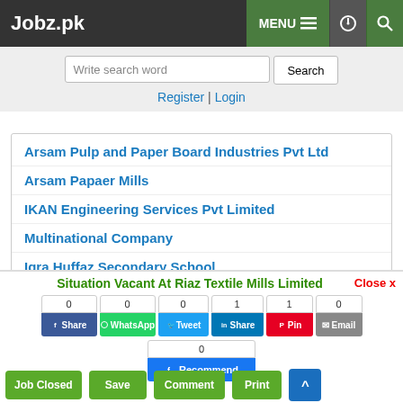Jobz.pk — MENU — Settings — Search
Write search word [Search] Register | Login
Arsam Pulp and Paper Board Industries Pvt Ltd
Arsam Papaer Mills
IKAN Engineering Services Pvt Limited
Multinational Company
Iqra Huffaz Secondary School
Tehreem Girls Hostel
[Figure (screenshot): Ad banner showing List.com.pk with logo]
Situation Vacant At Riaz Textile Mills Limited — Close x
Share counts: 0 Share (Facebook), 0 WhatsApp, 0 Tweet, 1 Share (LinkedIn), 1 Pin, 0 Email, 0 Recommend
Job Closed | Save | Comment | Print | Scroll to top